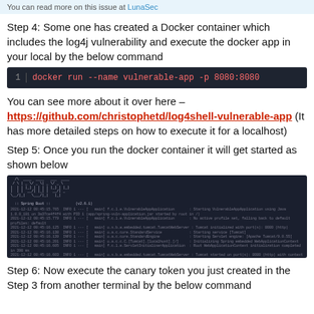You can read more on this issue at LunaSec
Step 4: Some one has created a Docker container which includes the log4j vulnerability and execute the docker app in your local by the below command
[Figure (screenshot): Code block showing: 1 | docker run --name vulnerable-app -p 8080:8080]
You can see more about it over here – https://github.com/christophetd/log4shell-vulnerable-app (It has more detailed steps on how to execute it for a localhost)
Step 5: Once you run the docker container it will get started as shown below
[Figure (screenshot): Terminal screenshot showing Docker container startup output for Spring Boot application with log4j vulnerability]
Step 6: Now execute the canary token you just created in the Step 3 from another terminal by the below command